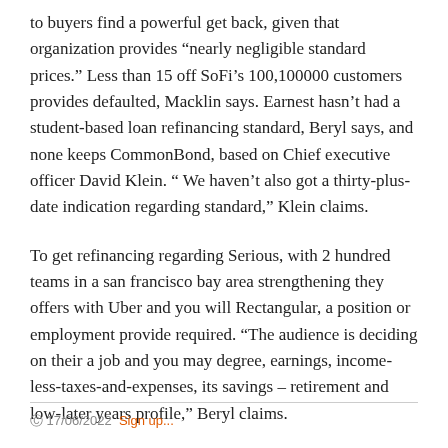to buyers find a powerful get back, given that organization provides “nearly negligible standard prices.” Less than 15 off SoFi’s 100,100000 customers provides defaulted, Macklin says. Earnest hasn’t had a student-based loan refinancing standard, Beryl says, and none keeps CommonBond, based on Chief executive officer David Klein. “ We haven’t also got a thirty-plus-date indication regarding standard,” Klein claims.
To get refinancing regarding Serious, with 2 hundred teams in a san francisco bay area strengthening they offers with Uber and you will Rectangular, a position or employment provide required. “The audience is deciding on their a job and you may degree, earnings, income-less-taxes-and-expenses, its savings – retirement and low-later years profile,” Beryl claims.
17/06/2022  Sign up...